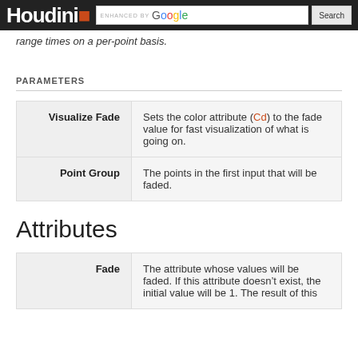Houdini | ENHANCED BY Google | Search
range times on a per-point basis.
PARAMETERS
| Parameter | Description |
| --- | --- |
| Visualize Fade | Sets the color attribute (Cd) to the fade value for fast visualization of what is going on. |
| Point Group | The points in the first input that will be faded. |
Attributes
| Attribute | Description |
| --- | --- |
| Fade | The attribute whose values will be faded. If this attribute doesn't exist, the initial value will be 1. The result of this |